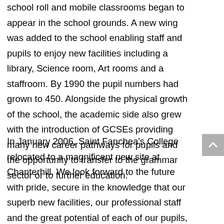school roll and mobile classrooms began to appear in the school grounds. A new wing was added to the school enabling staff and pupils to enjoy new facilities including a library, Science room, Art rooms and a staffroom. By 1990 the pupil numbers had grown to 450. Alongside the physical growth of the school, the academic side also grew with the introduction of GCSEs providing many new career pathways for pupils and the opportunity to transfer to the grammar sector or to further education.
In January 2006, Saint Fanchea's College relocated to a magnificent new site at Chanterhill. We look forward to the future with pride, secure in the knowledge that our superb new facilities, our professional staff and the great potential of each of our pupils, will meet the ever-changing challenges of the 21st Century. We embrace the ideals of